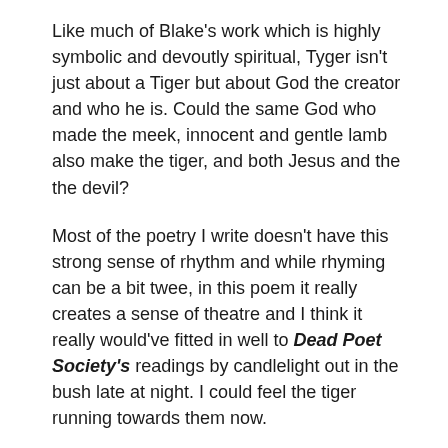Like much of Blake's work which is highly symbolic and devoutly spiritual, Tyger isn't just about a Tiger but about God the creator and who he is. Could the same God who made the meek, innocent and gentle lamb also make the tiger, and both Jesus and the the devil?
Most of the poetry I write doesn't have this strong sense of rhythm and while rhyming can be a bit twee, in this poem it really creates a sense of theatre and I think it really would've fitted in well to Dead Poet Society's readings by candlelight out in the bush late at night. I could feel the tiger running towards them now.
However, it's been sometime since I was studying Tyger at school and my son is roughly that age and the doors of my perception have widened.
I am now grappling with Blake's  Marriage of Heaven and Hell...a complex, baffling and incredibly humbling work, not